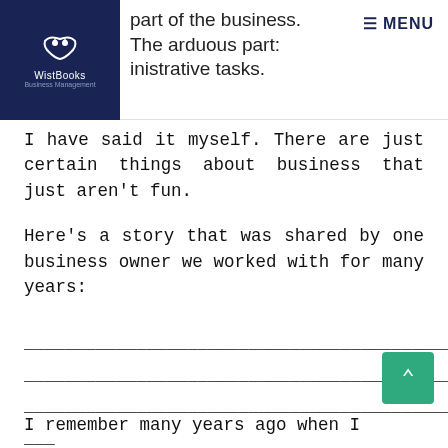part of the business. The arduous part: inistrative tasks.
I have said it myself. There are just certain things about business that just aren't fun.
Here's a story that was shared by one business owner we worked with for many years:
————————————————————————————————————————
————————————————————————————————————————
———————————————————————————————————————
———
I remember many years ago when I